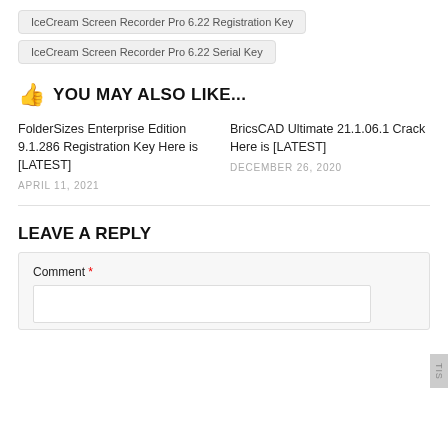IceCream Screen Recorder Pro 6.22 Registration Key
IceCream Screen Recorder Pro 6.22 Serial Key
👍 YOU MAY ALSO LIKE...
FolderSizes Enterprise Edition 9.1.286 Registration Key Here is [LATEST]
APRIL 11, 2021
BricsCAD Ultimate 21.1.06.1 Crack Here is [LATEST]
DECEMBER 26, 2020
LEAVE A REPLY
Comment *